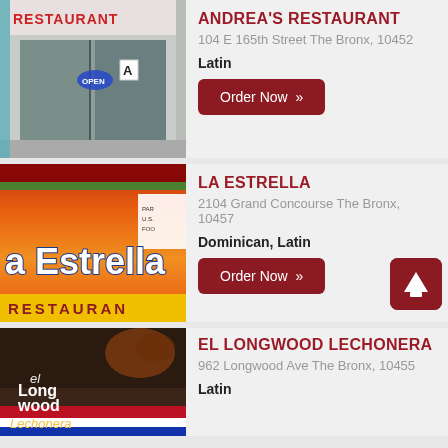[Figure (photo): Photo of Andrea's Restaurant storefront with 'RESTAURANT' sign visible, open sign in window, grade A posted]
ANDREA'S RESTAURANT
104 E 165th Street The Bronx, 10452
Latin
Order Now »
[Figure (photo): Photo of La Estrella restaurant sign with orange/red gradient background showing 'a Estrella RESTAURANT' text]
LA ESTRELLA
2104 Grand Concourse The Bronx, 10457
Dominican, Latin
Order Now »
[Figure (photo): Photo of El Longwood Lechonera restaurant sign with food imagery and text 'el Long wood Lechonera']
EL LONGWOOD LECHONERA
962 Longwood Ave The Bronx, 10455
Latin